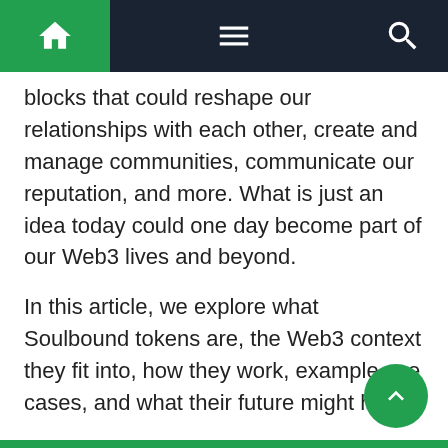Navigation bar with home, menu, and search icons
blocks that could reshape our relationships with each other, create and manage communities, communicate our reputation, and more. What is just an idea today could one day become part of our Web3 lives and beyond.
In this article, we explore what Soulbound tokens are, the Web3 context they fit into, how they work, example use cases, and what their future might hold.
What are Soulbound Tokens?